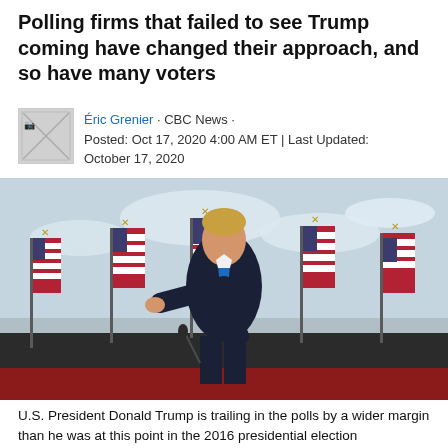Polling firms that failed to see Trump coming have changed their approach, and so have many voters
Éric Grenier · CBC News · Posted: Oct 17, 2020 4:00 AM ET | Last Updated: October 17, 2020
[Figure (photo): U.S. President Donald Trump standing at a rally surrounded by American flags, pointing at the camera, wearing a dark suit and blue tie]
U.S. President Donald Trump is trailing in the polls by a wider margin than he was at this point in the 2016 presidential election